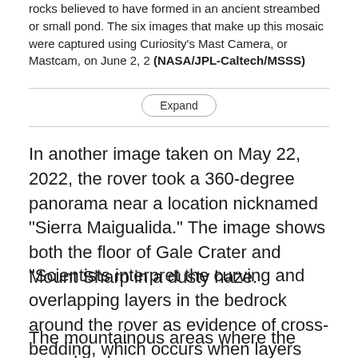rocks believed to have formed in an ancient streambed or small pond. The six images that make up this mosaic were captured using Curiosity's Mast Camera, or Mastcam, on June 2, 2 (NASA/JPL-Caltech/MSSS)
In another image taken on May 22, 2022, the rover took a 360-degree panorama near a location nicknamed "Sierra Maigualida." The image shows both the floor of Gale Crater and Mount Sharp in a dusty haze.
"Scientists interpret the curving and overlapping layers in the bedrock around the rover as evidence of cross-bedding, which occurs when layers are deposited from windblown sediment," NASA said.
The mountainous areas where the rover has been